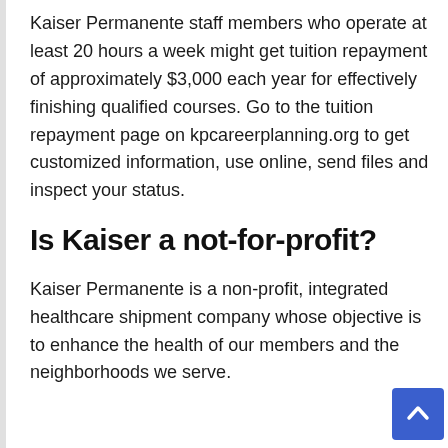Kaiser Permanente staff members who operate at least 20 hours a week might get tuition repayment of approximately $3,000 each year for effectively finishing qualified courses. Go to the tuition repayment page on kpcareerplanning.org to get customized information, use online, send files and inspect your status.
Is Kaiser a not-for-profit?
Kaiser Permanente is a non-profit, integrated healthcare shipment company whose objective is to enhance the health of our members and the neighborhoods we serve.